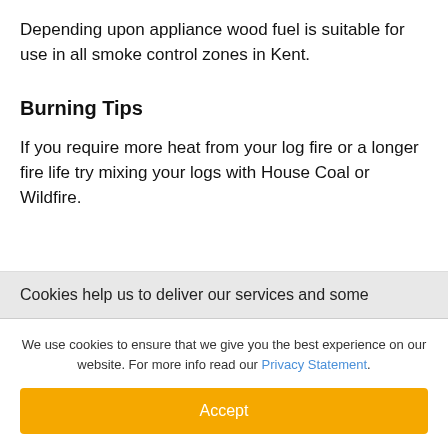Depending upon appliance wood fuel is suitable for use in all smoke control zones in Kent.
Burning Tips
If you require more heat from your log fire or a longer fire life try mixing your logs with House Coal or Wildfire.
Cookies help us to deliver our services and some
We use cookies to ensure that we give you the best experience on our website. For more info read our Privacy Statement.
Accept